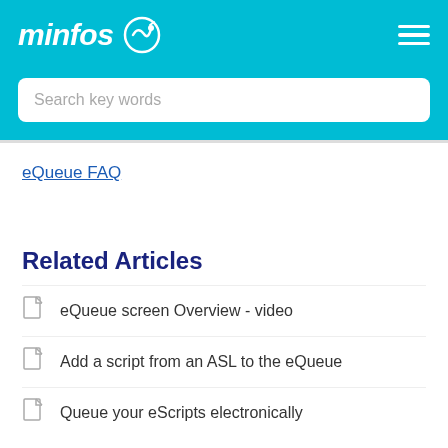minfos
Search key words
eQueue FAQ
Related Articles
eQueue screen Overview - video
Add a script from an ASL to the eQueue
Queue your eScripts electronically